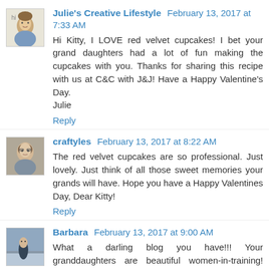[Figure (photo): Avatar thumbnail for Julie's Creative Lifestyle - cartoon/illustration style avatar with 'hi' text]
Julie's Creative Lifestyle February 13, 2017 at 7:33 AM
Hi Kitty, I LOVE red velvet cupcakes! I bet your grand daughters had a lot of fun making the cupcakes with you. Thanks for sharing this recipe with us at C&C with J&J! Have a Happy Valentine's Day.
Julie
Reply
[Figure (photo): Avatar photo of craftyles - woman with glasses]
craftyles February 13, 2017 at 8:22 AM
The red velvet cupcakes are so professional. Just lovely. Just think of all those sweet memories your grands will have. Hope you have a Happy Valentines Day, Dear Kitty!
Reply
[Figure (photo): Avatar photo of Barbara - person outdoors]
Barbara February 13, 2017 at 9:00 AM
What a darling blog you have!!! Your granddaughters are beautiful women-in-training! Happy Valentine's Day to you!
Reply